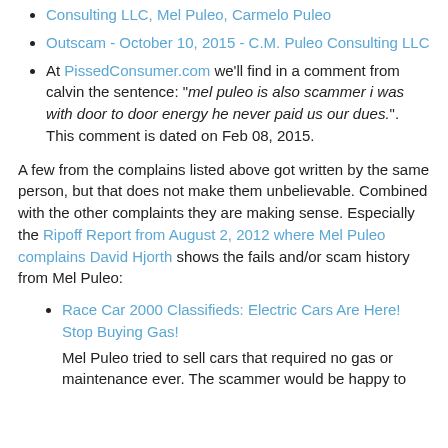Consulting LLC, Mel Puleo, Carmelo Puleo
Outscam - October 10, 2015 - C.M. Puleo Consulting LLC
At PissedConsumer.com we'll find in a comment from calvin the sentence: "mel puleo is also scammer i was with door to door energy he never paid us our dues.". This comment is dated on Feb 08, 2015.
A few from the complains listed above got written by the same person, but that does not make them unbelievable. Combined with the other complaints they are making sense. Especially the Ripoff Report from August 2, 2012 where Mel Puleo complains David Hjorth shows the fails and/or scam history from Mel Puleo:
Race Car 2000 Classifieds: Electric Cars Are Here! Stop Buying Gas!
Mel Puleo tried to sell cars that required no gas or maintenance ever. The scammer would be happy to